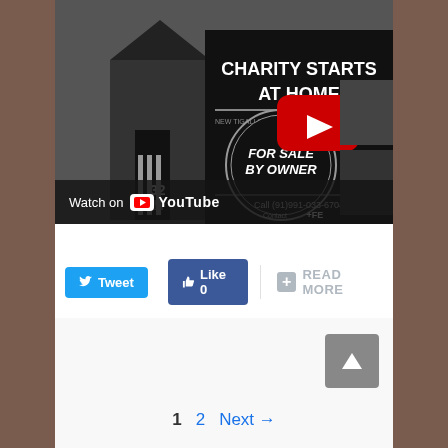[Figure (screenshot): YouTube video thumbnail for 'Phonte - The Good Fight (Prod. 9th W...' showing a black and white image of a house with signs reading 'CHARITY STARTS AT HOME' and 'FOR SALE BY OWNER', with a red YouTube play button overlay and 'Watch on YouTube' bar at bottom]
Tweet
Like 0
READ MORE
1  2  Next →